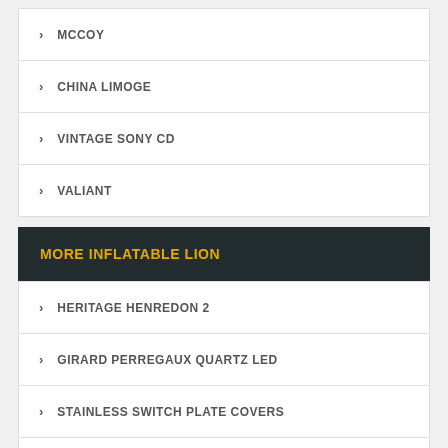MCCOY
CHINA LIMOGE
VINTAGE SONY CD
VALIANT
MORE INFLATABLE LION
HERITAGE HENREDON 2
GIRARD PERREGAUX QUARTZ LED
STAINLESS SWITCH PLATE COVERS
ANTIQUE AMPULES
WEDDING CHAMPAGNE FLUTE